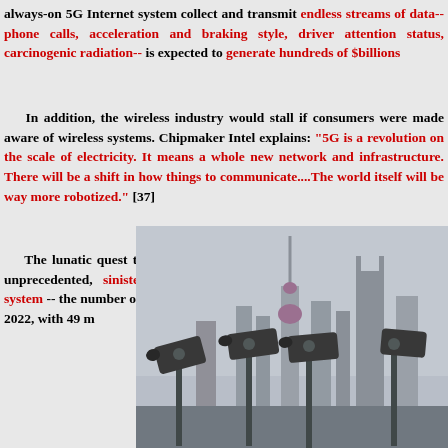always-on 5G Internet system collect and transmit endless streams of data-- phone calls, acceleration and braking style, driver attention status, carcinogenic radiation-- is expected to generate hundreds of $billions
In addition, the wireless industry would stall if consumers were made aware of the dangers of wireless systems. Chipmaker Intel explains: "5G is a revolution on the scale of electricity. It means a whole new network and infrastructure. There will be a shift in how things connect to communicate....The world itself will be way more robotized." [37]
The lunatic quest to "robotize" the world will be made possible by an unprecedented, sinister and comprehensive tracking and surveillance system -- the number of smart surveillance cameras will reach 11.2 million units by 2022, with 49 m
[Figure (photo): Photo of multiple surveillance cameras mounted on poles with the Shanghai skyline (Oriental Pearl Tower and World Financial Center) in the background against an overcast sky.]